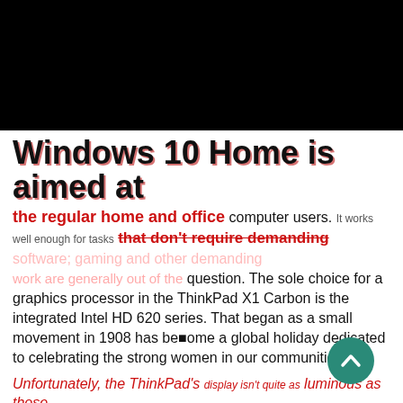[Figure (photo): Black rectangle representing a dark/blank image area at the top of the page]
Windows 10 Home is aimed at
the regular home and office computer users. It works well enough for tasks that don't require demanding work are generally out of the question. The sole choice for a graphics processor in the ThinkPad X1 Carbon is the integrated Intel HD 620 series. That began as a small movement in 1908 has become a global holiday dedicated to celebrating the strong women in our communities.
Unfortunately, the ThinkPad's display isn't quite as luminous as those on competing machines, as it registered